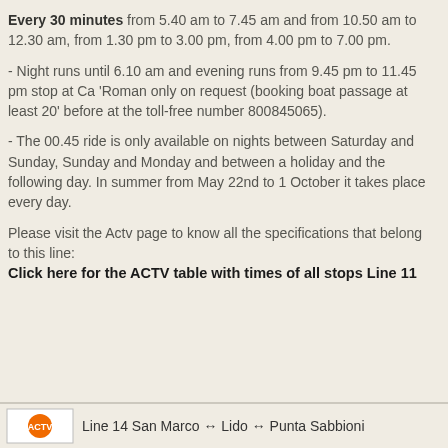Every 30 minutes from 5.40 am to 7.45 am and from 10.50 am to 12.30 am, from 1.30 pm to 3.00 pm, from 4.00 pm to 7.00 pm.
- Night runs until 6.10 am and evening runs from 9.45 pm to 11.45 pm stop at Ca 'Roman only on request (booking boat passage at least 20' before at the toll-free number 800845065).
- The 00.45 ride is only available on nights between Saturday and Sunday, Sunday and Monday and between a holiday and the following day. In summer from May 22nd to 1 October it takes place every day.
Please visit the Actv page to know all the specifications that belong to this line:
Click here for the ACTV table with times of all stops Line 11
Line 14 San Marco ↔ Lido ↔ Punta Sabbioni